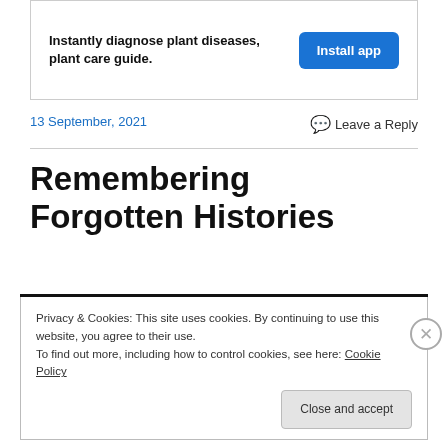[Figure (infographic): App advertisement banner with bold text 'Instantly diagnose plant diseases, plant care guide.' and a blue 'Install app' button]
13 September, 2021
Leave a Reply
Remembering Forgotten Histories
Privacy & Cookies: This site uses cookies. By continuing to use this website, you agree to their use.
To find out more, including how to control cookies, see here: Cookie Policy
Close and accept